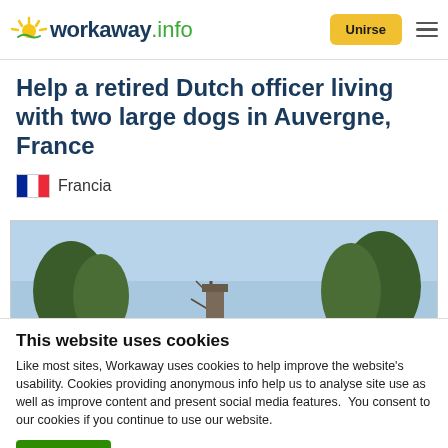workaway.info | Unirse
Help a retired Dutch officer living with two large dogs in Auvergne, France
Francia
[Figure (photo): Exterior photo of a house in Auvergne, France showing rooftop and chimney with bare trees and blue sky in the background]
This website uses cookies
Like most sites, Workaway uses cookies to help improve the website's usability. Cookies providing anonymous info help us to analyse site use as well as improve content and present social media features.  You consent to our cookies if you continue to use our website.
OK
Settings